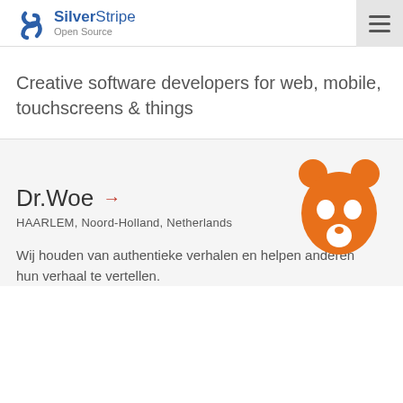SilverStripe Open Source
Creative software developers for web, mobile, touchscreens & things
[Figure (logo): Orange bear face logo for Dr.Woe]
Dr.Woe →
HAARLEM, Noord-Holland, Netherlands
Wij houden van authentieke verhalen en helpen anderen hun verhaal te vertellen.